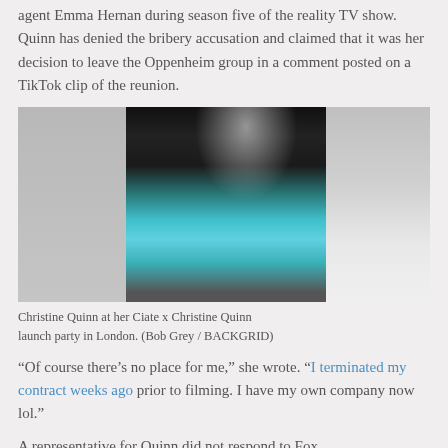agent Emma Hernan during season five of the reality TV show. Quinn has denied the bribery accusation and claimed that it was her decision to leave the Oppenheim group in a comment posted on a TikTok clip of the reunion.
[Figure (photo): Christine Quinn in a teal/turquoise ballgown at her Ciate x Christine Quinn launch party in London. The photo shows her posing in a flowing blue gown against a dark background.]
Christine Quinn at her Ciate x Christine Quinn launch party in London. (Bob Grey / BACKGRID)
“Of course there’s no place for me,” she wrote. “I terminated my contract weeks ago prior to filming. I have my own company now lol.”
A representative for Quinn did not respond to Fox